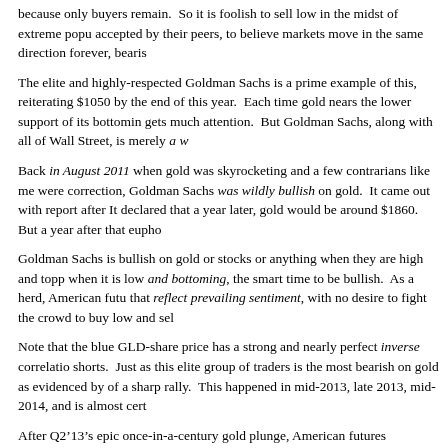because only buyers remain.  So it is foolish to sell low in the midst of extreme popu accepted by their peers, to believe markets move in the same direction forever, bearis
The elite and highly-respected Goldman Sachs is a prime example of this, reiterating $1050 by the end of this year.  Each time gold nears the lower support of its bottomin gets much attention.  But Goldman Sachs, along with all of Wall Street, is merely a w
Back in August 2011 when gold was skyrocketing and a few contrarians like me were correction, Goldman Sachs was wildly bullish on gold.  It came out with report after It declared that a year later, gold would be around $1860.  But a year after that eupho
Goldman Sachs is bullish on gold or stocks or anything when they are high and topp when it is low and bottoming, the smart time to be bullish.  As a herd, American futu that reflect prevailing sentiment, with no desire to fight the crowd to buy low and sel
Note that the blue GLD-share price has a strong and nearly perfect inverse correlatio shorts.  Just as this elite group of traders is the most bearish on gold as evidenced by of a sharp rally.  This happened in mid-2013, late 2013, mid-2014, and is almost cert
After Q2’13’s epic once-in-a-century gold plunge, American futures speculators were their bets against it surged to an at-least 14.5-year high.  It may have even been an al sharply.  Extreme gold-futures shorting is inherently self-limiting, as it sets the stage
When everyone thinks gold is doomed to spiral lower forever, everyone who wants t side bets who succumbed to the bearish groupthink are already out, and traders with have already laid them in.  And with essentially no futures sellers left, that leaves onl
At relatively-conservative-for-futures-traders 20x leverage, a 5% gold move against